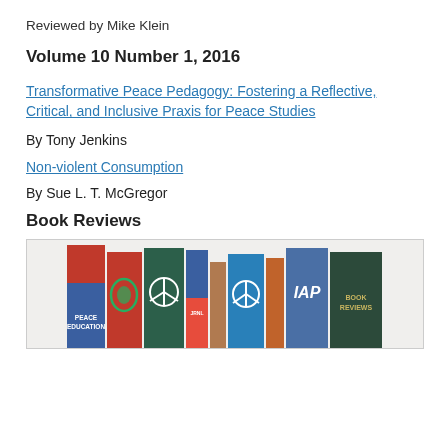Reviewed by Mike Klein
Volume 10 Number 1, 2016
Transformative Peace Pedagogy: Fostering a Reflective, Critical, and Inclusive Praxis for Peace Studies
By Tony Jenkins
Non-violent Consumption
By Sue L. T. McGregor
Book Reviews
[Figure (photo): A row of colorful book spines including titles related to peace education, book reviews, and related subjects. Books are in shades of red, blue, green, and orange.]